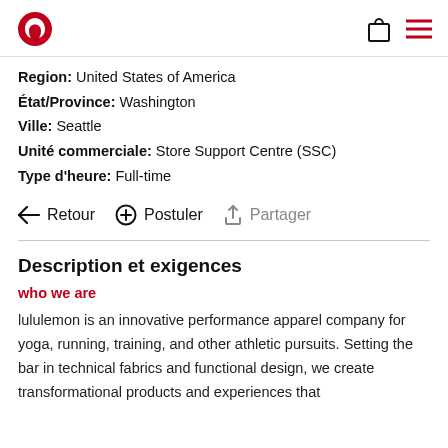lululemon logo, shopping bag icon, menu icon
Region: United States of America
État/Province: Washington
Ville: Seattle
Unité commerciale: Store Support Centre (SSC)
Type d'heure: Full-time
← Retour   ⊕ Postuler   ↑ Partager
Description et exigences
who we are
lululemon is an innovative performance apparel company for yoga, running, training, and other athletic pursuits. Setting the bar in technical fabrics and functional design, we create transformational products and experiences that